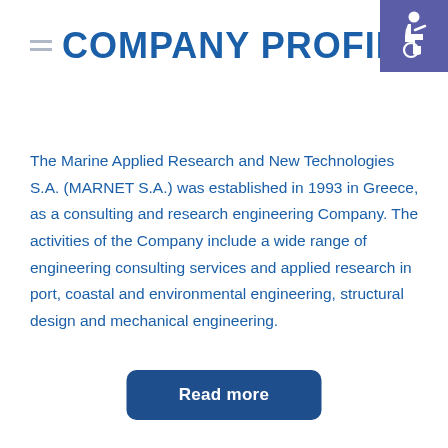COMPANY PROFILE
[Figure (illustration): Accessibility icon (wheelchair symbol) on a purple/indigo square background, top-right corner]
The Marine Applied Research and New Technologies S.A. (MARNET S.A.) was established in 1993 in Greece, as a consulting and research engineering Company. The activities of the Company include a wide range of engineering consulting services and applied research in port, coastal and environmental engineering, structural design and mechanical engineering.
Read more